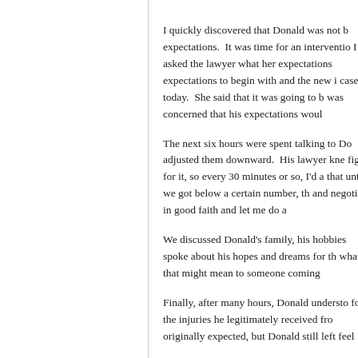I quickly discovered that Donald was not b expectations. It was time for an interventio I asked the lawyer what her expectations expectations to begin with and the new i case today. She said that it was going to b was concerned that his expectations woul
The next six hours were spent talking to D adjusted them downward. His lawyer kne fight for it, so every 30 minutes or so, I'd a that until we got below a certain number, th and negotiate in good faith and let me do a
We discussed Donald's family, his hobbies spoke about his hopes and dreams for th what that might mean to someone coming
Finally, after many hours, Donald understo for the injuries he legitimately received fr originally expected, but Donald still left feel
Before mediation, it is important to underst resolution. A neutral mediator can hel